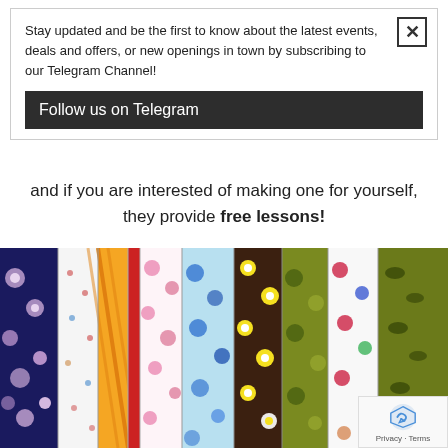Stay updated and be the first to know about the latest events, deals and offers, or new openings in town by subscribing to our Telegram Channel!
Follow us on Telegram
and if you are interested of making one for yourself, they provide free lessons!
[Figure (photo): Rolls of colorful floral fabric lined up side by side, showing various patterns including flowers, polka dots, and other decorative designs in many colors.]